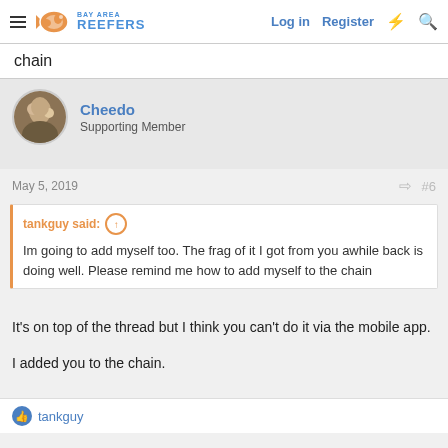Bay Area Reefers — Log in | Register
chain
Cheedo
Supporting Member
May 5, 2019  #6
tankguy said: ↑
Im going to add myself too. The frag of it I got from you awhile back is doing well. Please remind me how to add myself to the chain
It's on top of the thread but I think you can't do it via the mobile app.

I added you to the chain.
tankguy